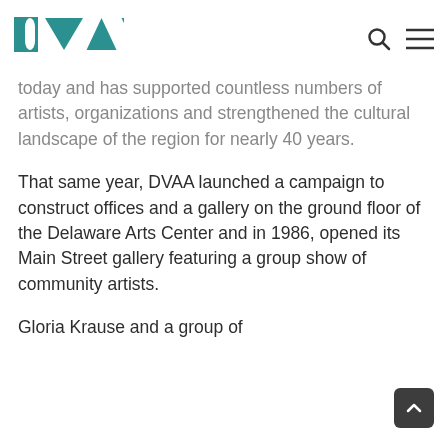DVAA logo with search and menu icons
today and has supported countless numbers of artists, organizations and strengthened the cultural landscape of the region for nearly 40 years.
That same year, DVAA launched a campaign to construct offices and a gallery on the ground floor of the Delaware Arts Center and in 1986, opened its Main Street gallery featuring a group show of community artists.
Gloria Krause and a group of